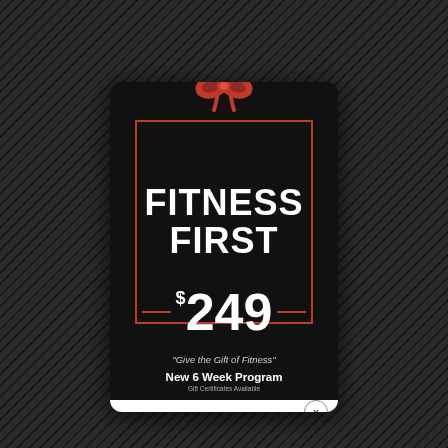[Figure (illustration): Dark background with diagonal striped pattern and blurred gym/fitness imagery]
FITNESS FIRST
$249
"Give the Gift of Fitness"
New 6 Week Program
Gift Certificates Available